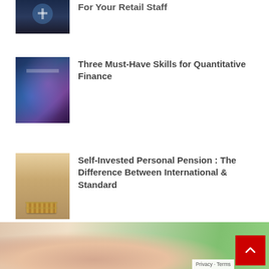[Figure (photo): Partially visible thumbnail image of a person in dark clothing, appears to be medical or professional context, cropped at top]
For Your Retail Staff
[Figure (photo): Thumbnail image with blue and purple tones showing a graduation cap silhouette, representing quantitative finance education]
Three Must-Have Skills for Quantitative Finance
[Figure (photo): Thumbnail image showing hands stacking coins on a wooden surface, representing personal pension savings]
Self-Invested Personal Pension : The Difference Between International & Standard
[Figure (photo): Large banner image of a young Asian woman looking in a mirror and touching her face, with green plant background]
Privacy · Terms